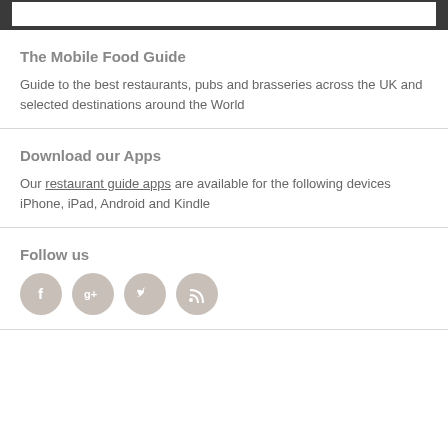[Figure (screenshot): Dark header bar with white rectangular box inside]
The Mobile Food Guide
Guide to the best restaurants, pubs and brasseries across the UK and selected destinations around the World
Download our Apps
Our restaurant guide apps are available for the following devices iPhone, iPad, Android and Kindle
Follow us
[Figure (illustration): Four social media icons: Facebook, Google+, Twitter, RSS feed]